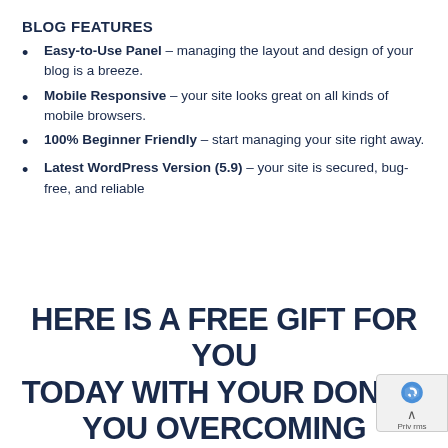BLOG FEATURES
Easy-to-Use Panel – managing the layout and design of your blog is a breeze.
Mobile Responsive – your site looks great on all kinds of mobile browsers.
100% Beginner Friendly – start managing your site right away.
Latest WordPress Version (5.9) – your site is secured, bug-free, and reliable
HERE IS A FREE GIFT FOR YOU TODAY WITH YOUR DONE F… YOU OVERCOMING